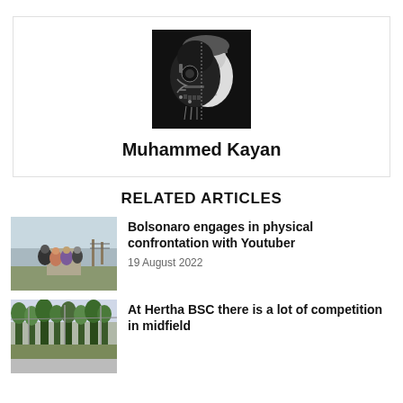[Figure (illustration): Black and white illustration of a face that is half human and half robot/skull, centered in an author card]
Muhammed Kayan
RELATED ARTICLES
[Figure (photo): Outdoor photo showing a group of people, appears to be a confrontation scene]
Bolsonaro engages in physical confrontation with Youtuber
19 August 2022
[Figure (photo): Outdoor photo with trees/forest in background]
At Hertha BSC there is a lot of competition in midfield